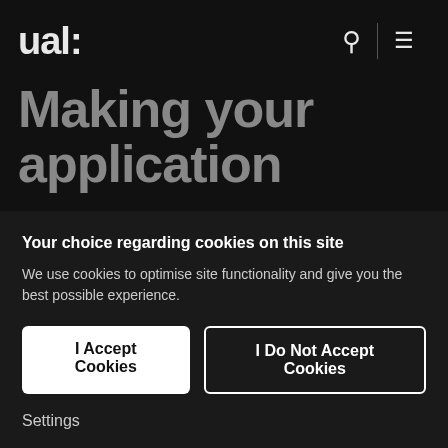ual:
Making your application
Home  International
All applications will be considered by the
Your choice regarding cookies on this site
We use cookies to optimise site functionality and give you the best possible experience.
I Accept Cookies
I Do Not Accept Cookies
Settings